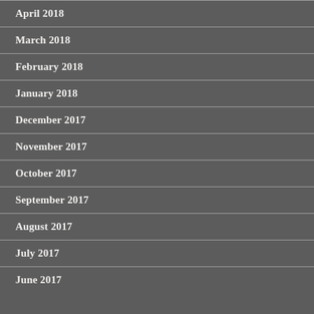April 2018
March 2018
February 2018
January 2018
December 2017
November 2017
October 2017
September 2017
August 2017
July 2017
June 2017